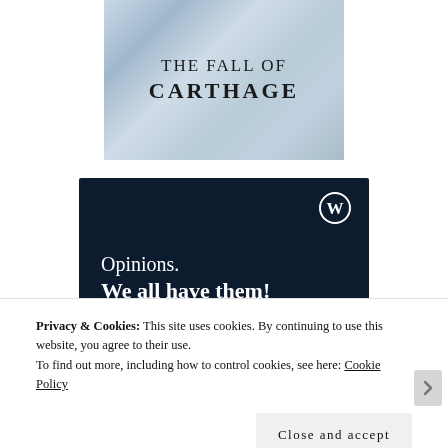[Figure (illustration): Book cover for 'The Fall of Carthage' with streaky light blue/grey background and serif title text]
[Figure (infographic): WordPress.com advertisement with dark navy background, WordPress logo (W in circle) top right, text 'Opinions. We all have them!', pink button bar at bottom left, white circle bottom right]
Privacy & Cookies: This site uses cookies. By continuing to use this website, you agree to their use.
To find out more, including how to control cookies, see here: Cookie Policy
Close and accept